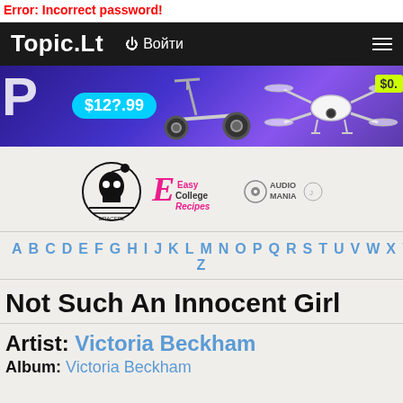Error: Incorrect password!
Topic.Lt  Войти  ☰
[Figure (photo): Advertisement banner with purple/blue background showing an electric scooter priced at $12?.99 and a drone, with partial letter P on the left and a price tag showing $0. on the right]
[Figure (logo): Three logos: a skull/racer logo, Easy College Recipes logo in pink, and Audio Mania logo]
A B C D E F G H I J K L M N O P Q R S T U V W X Y Z
Not Such An Innocent Girl
Artist: Victoria Beckham
Album: Victoria Beckham